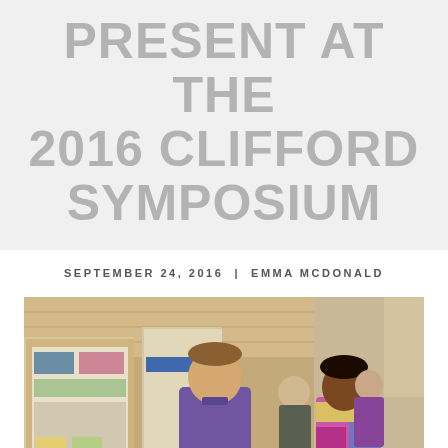PRESENT AT THE 2016 CLIFFORD SYMPOSIUM
SEPTEMBER 24, 2016 | EMMA MCDONALD
[Figure (photo): Photo of students and faculty at the 2016 Clifford Symposium poster session. A young man in a purple checked shirt talks with a woman in a colorful top. Behind them, other attendees browse research posters in a modern building with wood-paneled walls.]